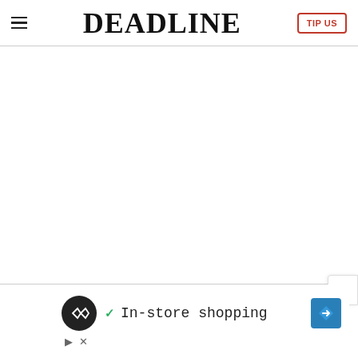DEADLINE | TIP US
[Figure (screenshot): White blank content area below the Deadline header]
[Figure (screenshot): Advertisement panel showing in-store shopping ad with circular logo icon, checkmark, text 'In-store shopping', and blue direction arrow icon. Play and X attribution icons at bottom left.]